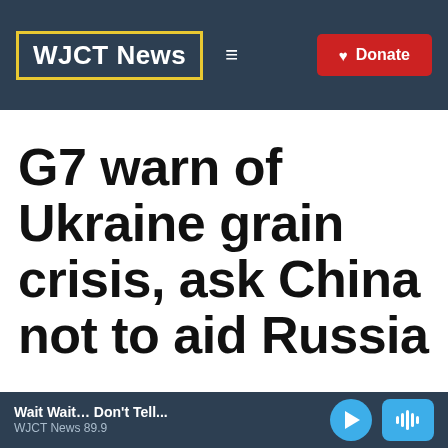WJCT News
G7 warn of Ukraine grain crisis, ask China not to aid Russia
Wait Wait… Don't Tell... WJCT News 89.9